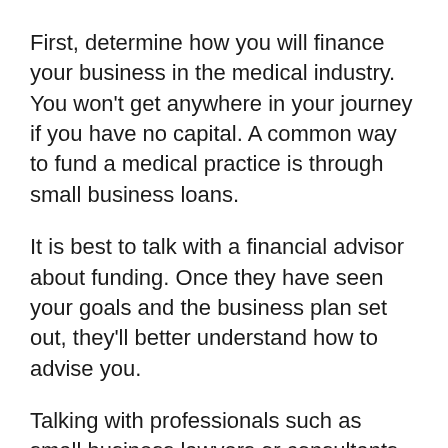First, determine how you will finance your business in the medical industry. You won't get anywhere in your journey if you have no capital. A common way to fund a medical practice is through small business loans.
It is best to talk with a financial advisor about funding. Once they have seen your goals and the business plan set out, they'll better understand how to advise you.
Talking with professionals such as small business lawyers or consultants in your area can help you through the many considerations that come with building a business.
Decisions such as the name of the practice don't have much effect on the business long-term. However, organizational structures such as LLC, C Corp, or S Corp can have long-lasting impacts that would benefit